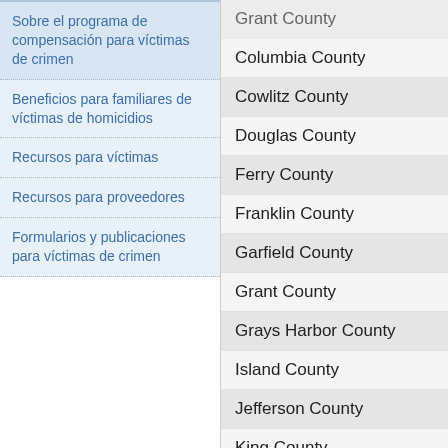Sobre el programa de compensación para víctimas de crimen
Beneficios para familiares de víctimas de homicidios
Recursos para víctimas
Recursos para proveedores
Formularios y publicaciones para víctimas de crimen
| County |
| --- |
| Grant County (partial) |
| Columbia County |
| Cowlitz County |
| Douglas County |
| Ferry County |
| Franklin County |
| Garfield County |
| Grant County |
| Grays Harbor County |
| Island County |
| Jefferson County |
| King County |
| Kitsap County |
| Kittitas County |
| Klickitat County |
| Lewis County |
| Lincoln County |
| Mason County |
| Okanogan County |